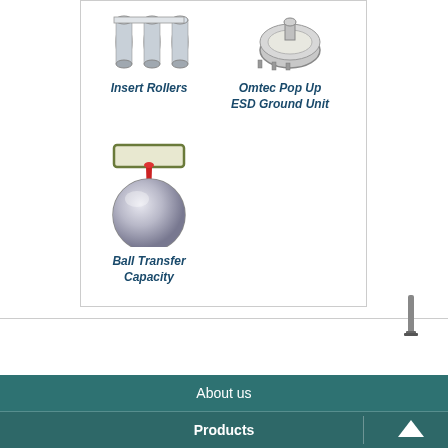[Figure (illustration): Product card grid showing Insert Rollers (top-left), Omtec Pop Up ESD Ground Unit (top-right), and Ball Transfer Capacity (bottom-left) with product images and italic bold teal labels]
[Figure (illustration): Small vertical icon/image on right side near middle of page]
About us
Products